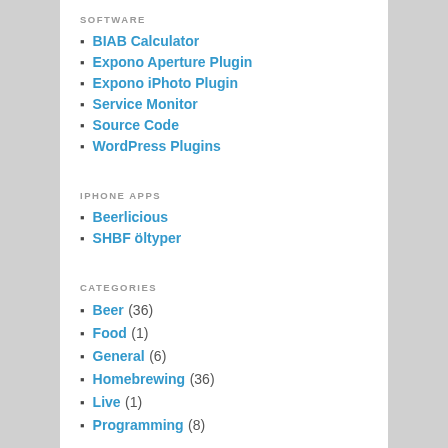SOFTWARE
BIAB Calculator
Expono Aperture Plugin
Expono iPhoto Plugin
Service Monitor
Source Code
WordPress Plugins
IPHONE APPS
Beerlicious
SHBF öltyper
CATEGORIES
Beer (36)
Food (1)
General (6)
Homebrewing (36)
Live (1)
Programming (8)